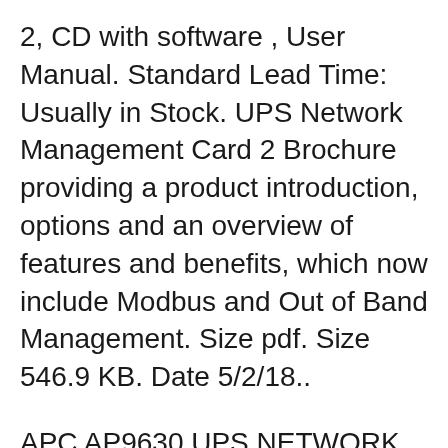2, CD with software , User Manual. Standard Lead Time: Usually in Stock. UPS Network Management Card 2 Brochure providing a product introduction, options and an overview of features and benefits, which now include Modbus and Out of Band Management. Size pdf. Size 546.9 KB. Date 5/2/18..
APC AP9630 UPS NETWORK MANAGEMENT CARD 2 Dell USA. This APC UPS Network Management Card allows for secure monitoring and control of an individual APC UPS via web browser, command line interface, or SNMP. Embedded technology provides connection reliability with notification...